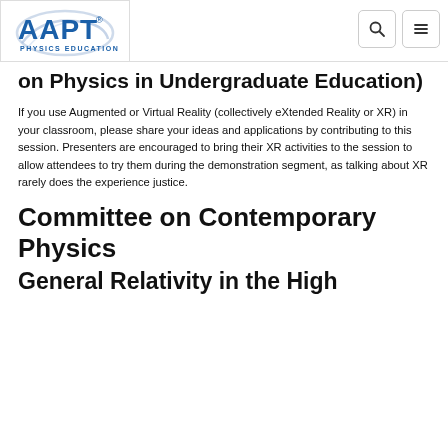[Figure (logo): AAPT Physics Education logo — blue bold AAPT text with stylized arc and registered trademark symbol, caption PHYSICS EDUCATION]
on Physics in Undergraduate Education)
If you use Augmented or Virtual Reality (collectively eXtended Reality or XR) in your classroom, please share your ideas and applications by contributing to this session. Presenters are encouraged to bring their XR activities to the session to allow attendees to try them during the demonstration segment, as talking about XR rarely does the experience justice.
Committee on Contemporary Physics
General Relativity in the High